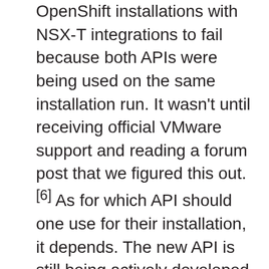OpenShift installations with NSX-T integrations to fail because both APIs were being used on the same installation run. It wasn't until receiving official VMware support and reading a forum post that we figured this out.[6] As for which API should one use for their installation, it depends. The new API is still being actively developed and during the time of this publication, there still aren't official Ansible modules for NSX-T. However, there is an official VMware GitHub repo where they are actively developing this.[7] In our engagement, we leveraged the old API due to our client having already created existing NSX-T resources using the Advanced Settings UI. However, It would be best practice to leverage the new, declarative API because the old one will be phased out. Therefore, make sure to create any OpenShift cluster dependent NSX-T resources using the Simple UI,